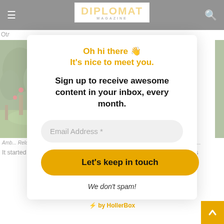DIPLOMAT MAGAZINE
Ot[r]...
[Figure (photo): Garden with green trees and grass, partially visible behind a modal dialog]
Oh hi there 👋
It's nice to meet you.
Sign up to receive awesome content in your inbox, every month.
Email Address *
Let's keep in touch
We don't spam!
Amb[assador...]... Relations MFA commemorating 50th Anniversary of Sino-Dutch Diplomatic Relati[ons]
It started as a stream as early as 400 years ago, when our two peoples
⚡ by HollerBox